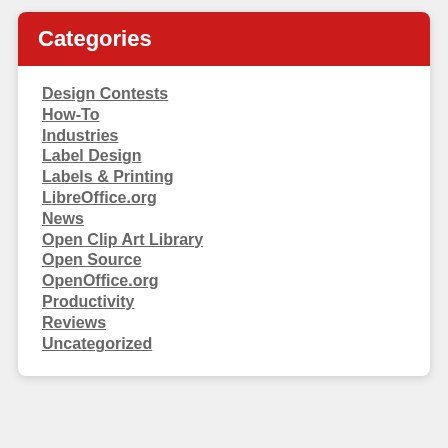Categories
Design Contests
How-To
Industries
Label Design
Labels & Printing
LibreOffice.org
News
Open Clip Art Library
Open Source
OpenOffice.org
Productivity
Reviews
Uncategorized